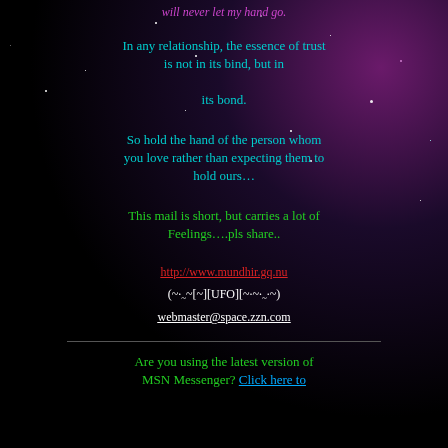will never let my hand go.
In any relationship, the essence of trust is not in its bind, but in its bond.
So hold the hand of the person whom you love rather than expecting them to hold ours…
This mail is short, but carries a lot of Feelings….pls share..
http://www.mundhir.gq.nu
(~._~[~][UFO][~·~._~)
webmaster@space.zzn.com
Are you using the latest version of MSN Messenger? Click here to